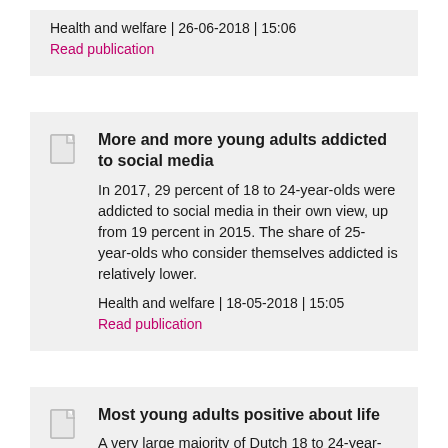Health and welfare | 26-06-2018 | 15:06
Read publication
More and more young adults addicted to social media
In 2017, 29 percent of 18 to 24-year-olds were addicted to social media in their own view, up from 19 percent in 2015. The share of 25-year-olds who consider themselves addicted is relatively lower.
Health and welfare | 18-05-2018 | 15:05
Read publication
Most young adults positive about life
A very large majority of Dutch 18 to 24-year-olds are satisfied with their lives in general and with